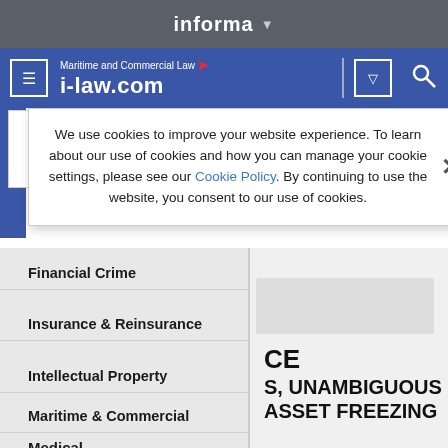informa
[Figure (screenshot): i-law.com navigation bar with menu icon, Maritime and Commercial Law logo, dropdown button, and search icon]
We use cookies to improve your website experience. To learn about our use of cookies and how you can manage your cookie settings, please see our Cookie Policy. By continuing to use the website, you consent to our use of cookies.
Financial Crime
Insurance & Reinsurance
Intellectual Property
Maritime & Commercial
Medical
CE
S, UNAMBIGUOUS
 ASSET FREEZING